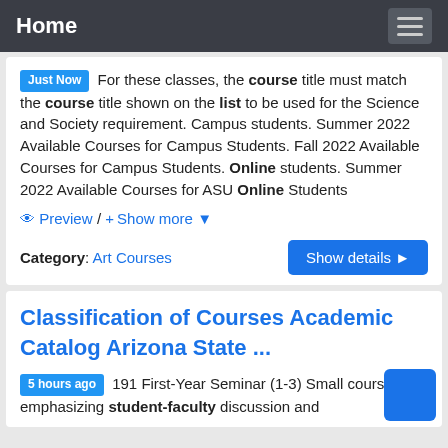Home
Just Now  For these classes, the course title must match the course title shown on the list to be used for the Science and Society requirement. Campus students. Summer 2022 Available Courses for Campus Students. Fall 2022 Available Courses for Campus Students. Online students. Summer 2022 Available Courses for ASU Online Students
Preview / + Show more
Category: Art Courses
Classification of Courses Academic Catalog Arizona State ...
5 hours ago  191 First-Year Seminar (1-3) Small course emphasizing student-faculty discussion and